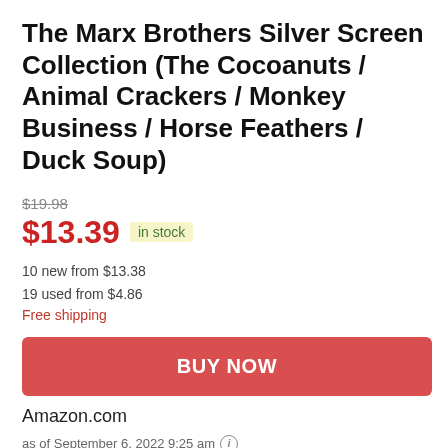The Marx Brothers Silver Screen Collection (The Cocoanuts / Animal Crackers / Monkey Business / Horse Feathers / Duck Soup)
$19.98
$13.39 in stock
10 new from $13.38
19 used from $4.86
Free shipping
BUY NOW
Amazon.com
as of September 6, 2022 9:25 am ℹ